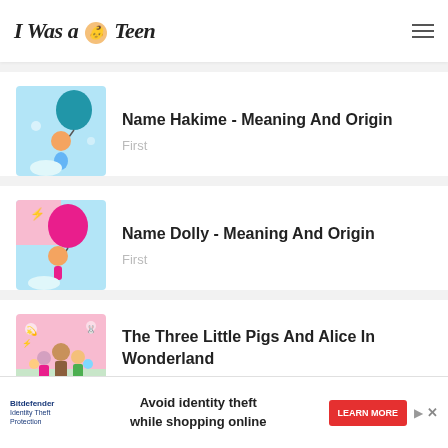I Was a Teen
[Figure (illustration): Baby character floating with blue balloon on light blue background]
Name Hakime - Meaning And Origin
First
[Figure (illustration): Baby character floating with pink/red balloon on light blue background]
Name Dolly - Meaning And Origin
First
[Figure (illustration): Family group illustration on pink and green background]
The Three Little Pigs And Alice In Wonderland
Videos
Avoid identity theft while shopping online — LEARN MORE